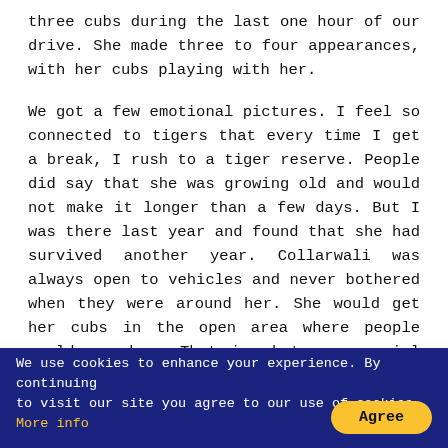three cubs during the last one hour of our drive. She made three to four appearances, with her cubs playing with her.
We got a few emotional pictures. I feel so connected to tigers that every time I get a break, I rush to a tiger reserve. People did say that she was growing old and would not make it longer than a few days. But I was there last year and found that she had survived another year. Collarwali was always open to vehicles and never bothered when they were around her. She would get her cubs in the open area where people could see her. That is what was special about her,”
We use cookies to enhance your experience. By continuing to visit our site you agree to our use of cookies. More info